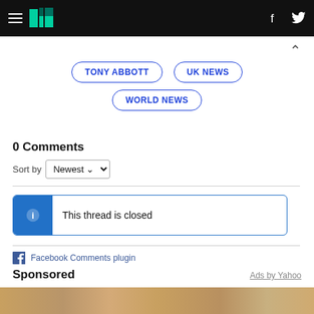HuffPost navigation header with hamburger menu, logo, Facebook and Twitter icons
TONY ABBOTT
UK NEWS
WORLD NEWS
0 Comments
Sort by Newest
This thread is closed
Facebook Comments plugin
Sponsored
Ads by Yahoo
[Figure (photo): Bottom strip showing a wooden texture background]